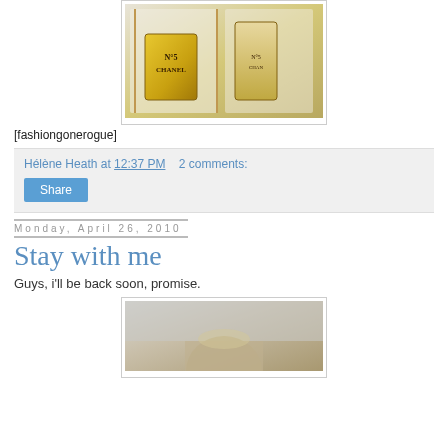[Figure (photo): Two women in white Chanel jackets holding large Chanel No. 5 perfume bottles]
[fashiongonerogue]
Hélène Heath at 12:37 PM    2 comments:
Share
Monday, April 26, 2010
Stay with me
Guys, i'll be back soon, promise.
[Figure (photo): Partial view of a blond person in a room]